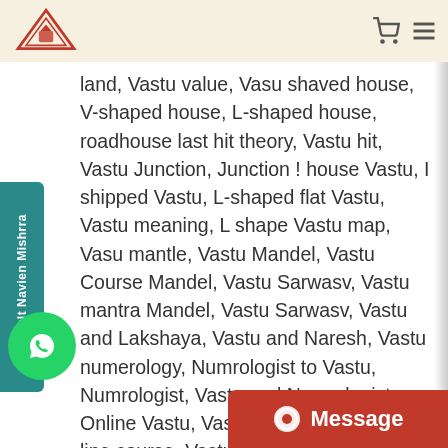VastuSarwasV logo and navigation
land, Vastu value, Vasu shaved house, V-shaped house, L-shaped house, roadhouse last hit theory, Vastu hit, Vastu Junction, Junction ! house Vastu, I shipped Vastu, L-shaped flat Vastu, Vastu meaning, L shape Vastu map, Vasu mantle, Vastu Mandel, Vastu Course Mandel, Vastu Sarwasv, Vastu mantra Mandel, Vastu Sarwasv, Vastu and Lakshaya, Vastu and Naresh, Vastu numerology, Numrologist to Vastu, Numrologist, Vastu and Numrologist, Online Vastu, Vastu Course, Vastu and line course, Vastu Guruji, Vasu pyramid, Vastu Client, Vastu plan, Vastu Course in Hindi, Vastu puja, Vasu photo, tu Course, Vastu question, stu questions and answers, and answer in Indy, Vastu rules, Vastu rules